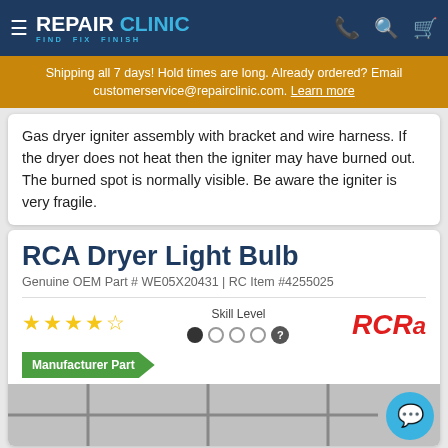REPAIR CLINIC — FIND. FIX. FINISH.
Shipping all 7 days! Hold times are long. Already ordered? Email customerservice@repairclinic.com. Learn more
Gas dryer igniter assembly with bracket and wire harness. If the dryer does not heat then the igniter may have burned out. The burned spot is normally visible. Be aware the igniter is very fragile.
RCA Dryer Light Bulb
Genuine OEM Part # WE05X20431 | RC Item #4255025
★★★★☆ Skill Level ● ○ ○ ○ ?
[Figure (logo): RCA brand logo in red italic text]
Manufacturer Part